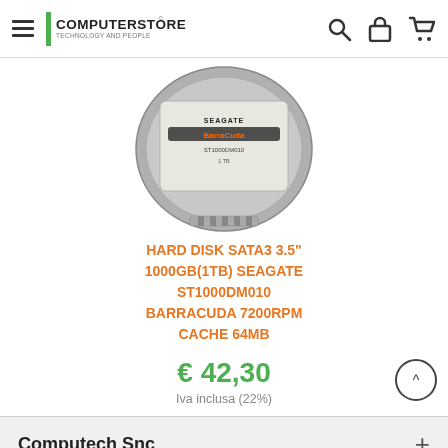COMPUTERSTORE
[Figure (photo): Seagate Barracuda 1TB 3.5 inch hard disk drive product photo]
HARD DISK SATA3 3.5" 1000GB(1TB) SEAGATE ST1000DM010 BARRACUDA 7200rpm Cache 64MB
€ 42,30
Iva inclusa (22%)
Computech Snc
Informazioni e Servizi